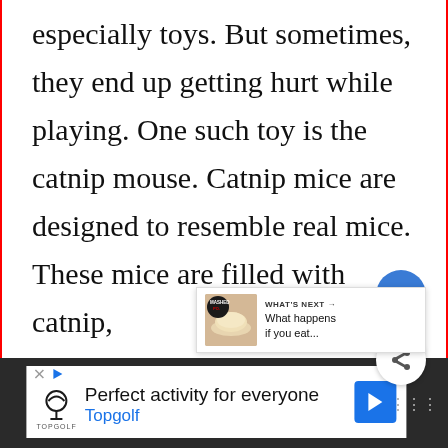especially toys. But sometimes, they end up getting hurt while playing. One such toy is the catnip mouse. Catnip mice are designed to resemble real mice. These mice are filled with catnip,
[Figure (other): Floating like/heart button (blue circle) and share button (white circle with share icon), plus a 'What's Next' content recommendation overlay showing a Mashed Potatoes article thumbnail with the text 'WHAT'S NEXT → What happens if you eat...']
[Figure (other): Advertisement banner at the bottom for Topgolf: 'Perfect activity for everyone' with Topgolf logo and blue arrow button, on a dark background]